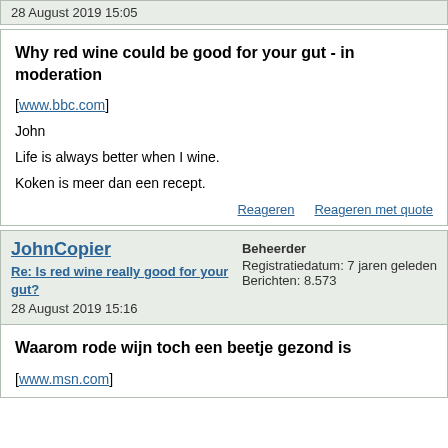28 August 2019 15:05
Why red wine could be good for your gut - in moderation
[www.bbc.com]
John
Life is always better when I wine.
Koken is meer dan een recept.
Reageren   Reageren met quote
JohnCopier
Re: Is red wine really good for your gut?
28 August 2019 15:16
Beheerder
Registratiedatum: 7 jaren geleden
Berichten: 8.573
Waarom rode wijn toch een beetje gezond is
[www.msn.com]